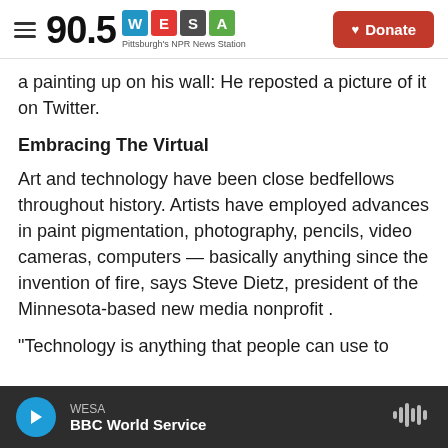90.5 WESA — Pittsburgh's NPR News Station
a painting up on his wall: He reposted a picture of it on Twitter.
Embracing The Virtual
Art and technology have been close bedfellows throughout history. Artists have employed advances in paint pigmentation, photography, pencils, video cameras, computers — basically anything since the invention of fire, says Steve Dietz, president of the Minnesota-based new media nonprofit .
"Technology is anything that people can use to
WESA — BBC World Service